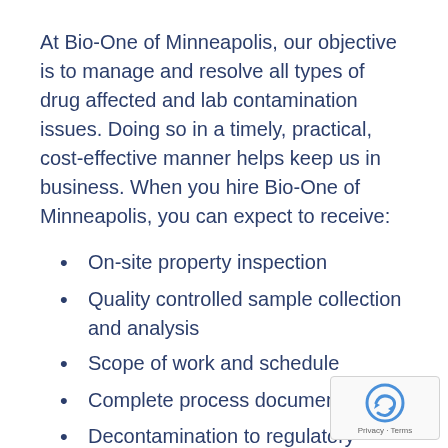At Bio-One of Minneapolis, our objective is to manage and resolve all types of drug affected and lab contamination issues. Doing so in a timely, practical, cost-effective manner helps keep us in business. When you hire Bio-One of Minneapolis, you can expect to receive:
On-site property inspection
Quality controlled sample collection and analysis
Scope of work and schedule
Complete process documentation
Decontamination to regulatory standa…
Clearance certification